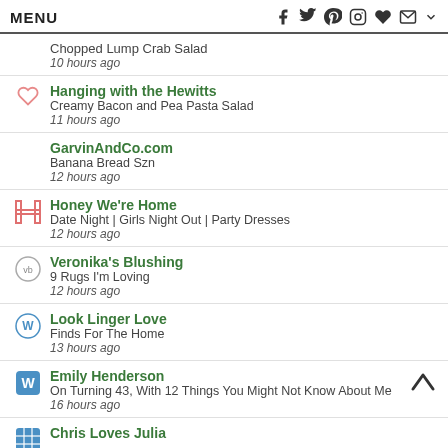MENU
Chopped Lump Crab Salad
10 hours ago
Hanging with the Hewitts
Creamy Bacon and Pea Pasta Salad
11 hours ago
GarvinAndCo.com
Banana Bread Szn
12 hours ago
Honey We're Home
Date Night | Girls Night Out | Party Dresses
12 hours ago
Veronika's Blushing
9 Rugs I'm Loving
12 hours ago
Look Linger Love
Finds For The Home
13 hours ago
Emily Henderson
On Turning 43, With 12 Things You Might Not Know About Me
16 hours ago
Chris Loves Julia